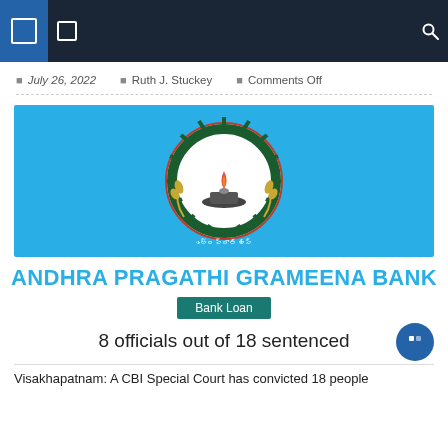Navigation bar with menu icons and search
July 26, 2022  Ruth J. Stuckey  Comments Off
[Figure (logo): Andhra Pragathi Grameena Bank logo on light blue background — circular seal with green gear border, flame lamp, wheat stalks, and Telugu script below]
ANDHRA PRAGATHI GRAMEENA BANK
Bank Loan
8 officials out of 18 sentenced
Visakhapatnam: A CBI Special Court has convicted 18 people